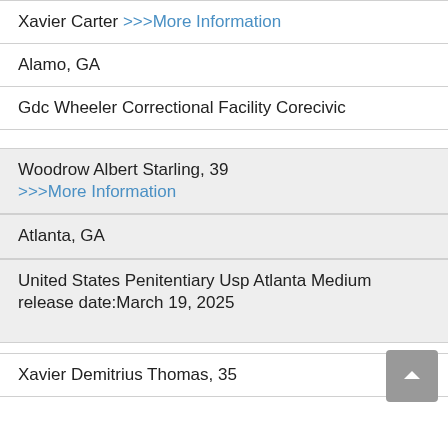Xavier Carter >>>More Information
Alamo, GA
Gdc Wheeler Correctional Facility Corecivic
Woodrow Albert Starling, 39 >>>More Information
Atlanta, GA
United States Penitentiary Usp Atlanta Medium
release date:March 19, 2025
Xavier Demitrius Thomas, 35